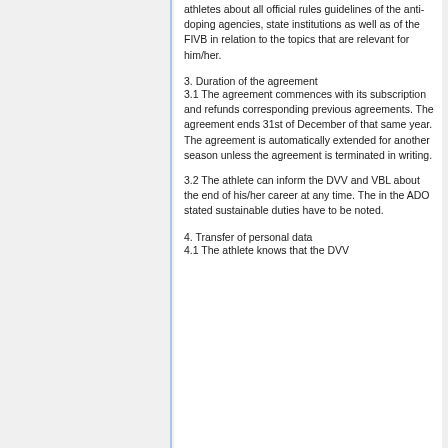athletes about all official rules guidelines of the anti-doping agencies, state institutions as well as of the FIVB in relation to the topics that are relevant for him/her.
3. Duration of the agreement
3.1 The agreement commences with its subscription and refunds corresponding previous agreements. The agreement ends 31st of December of that same year. The agreement is automatically extended for another season unless the agreement is terminated in writing.
3.2 The athlete can inform the DVV and VBL about the end of his/her career at any time. The in the ADO stated sustainable duties have to be noted.
4. Transfer of personal data
4.1 The athlete knows that the DVV